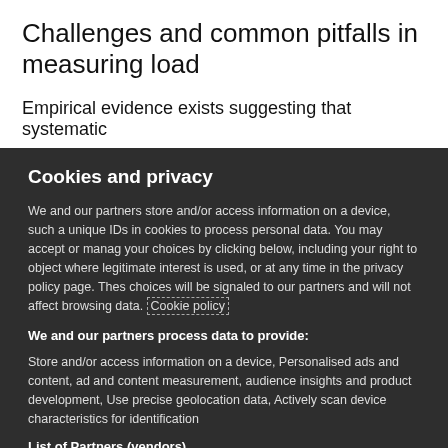Challenges and common pitfalls in measuring load
Empirical evidence exists suggesting that systematic
Cookies and privacy
We and our partners store and/or access information on a device, such a unique IDs in cookies to process personal data. You may accept or manage your choices by clicking below, including your right to object where legitimate interest is used, or at any time in the privacy policy page. These choices will be signaled to our partners and will not affect browsing data. Cookie policy
We and our partners process data to provide:
Store and/or access information on a device, Personalised ads and content, ad and content measurement, audience insights and product development, Use precise geolocation data, Actively scan device characteristics for identification
List of Partners (vendors)
I Accept